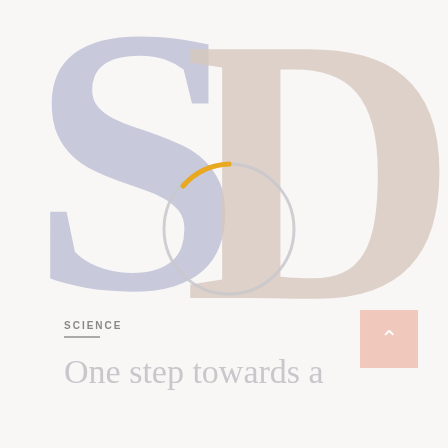[Figure (logo): Large stylized letters S and D overlapping as a logo/brand mark. S is in muted blue-grey, D is in muted pink-beige. A circular ring with a small orange arc overlays the center where the letters meet.]
SCIENCE
One step towards a